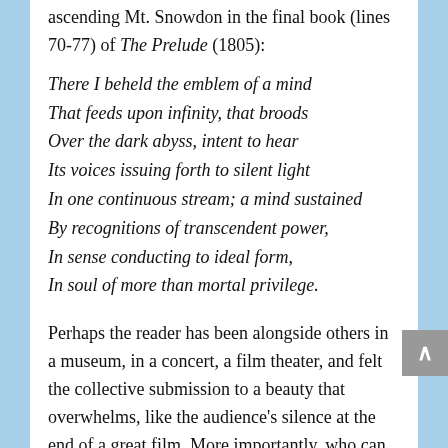ascending Mt. Snowdon in the final book (lines 70-77) of The Prelude (1805):
There I beheld the emblem of a mind
That feeds upon infinity, that broods
Over the dark abyss, intent to hear
Its voices issuing forth to silent light
In one continuous stream; a mind sustained
By recognitions of transcendent power,
In sense conducting to ideal form,
In soul of more than mortal privilege.
Perhaps the reader has been alongside others in a museum, in a concert, a film theater, and felt the collective submission to a beauty that overwhelms, like the audience's silence at the end of a great film. More importantly, who can